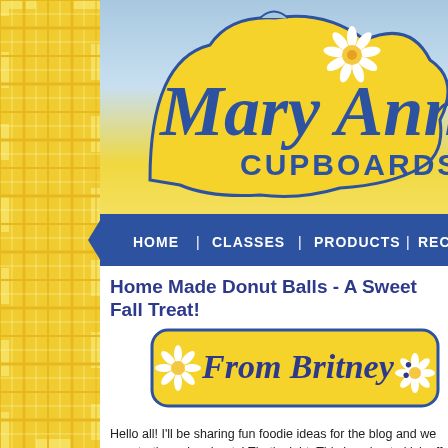[Figure (logo): Mary Ann's Cupboards logo — yellow cloud-shaped background with script text 'Mary Ann's' and bold text 'CUPBOARDS', daisy flower decoration, on a sky/sunset gradient background with a yellow plaid decorative strip on the left]
[Figure (infographic): Blue banner navigation bar with menu items: HOME | CLASSES | PRODUCTS | RECIPES]
Home Made Donut Balls - A Sweet Fall Treat!
[Figure (illustration): Yellow rounded rectangle banner with blue border reading 'From Britney :' in script font, with white daisy decorations on left and right]
Hello all! I'll be sharing fun foodie ideas for the blog and we are starting , doughnuts! That's right. This is going to kick off the Family Favorites s